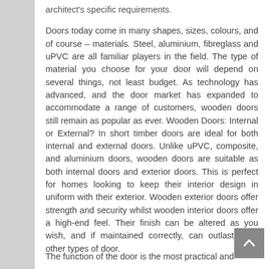architect's specific requirements. Doors today come in many shapes, sizes, colours, and of course – materials. Steel, aluminium, fibreglass and uPVC are all familiar players in the field. The type of material you choose for your door will depend on several things, not least budget. As technology has advanced, and the door market has expanded to accommodate a range of customers, wooden doors still remain as popular as ever. Wooden Doors: Internal or External? In short timber doors are ideal for both internal and external doors. Unlike uPVC, composite, and aluminium doors, wooden doors are suitable as both internal doors and exterior doors. This is perfect for homes looking to keep their interior design in uniform with their exterior. Wooden exterior doors offer strength and security whilst wooden interior doors offer a high-end feel. Their finish can be altered as you wish, and if maintained correctly, can outlast most other types of door.
The function of the door is the most practical and